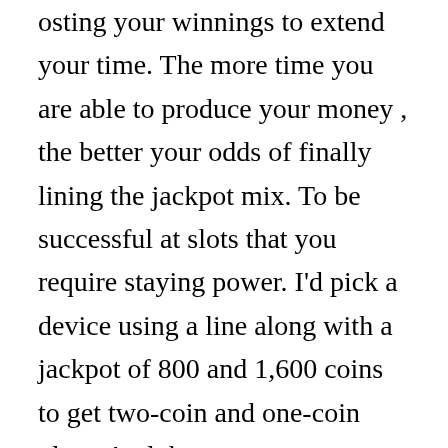osting your winnings to extend your time. The more time you are able to produce your money , the better your odds of finally lining the jackpot mix. To be successful at slots that you require staying power. I'd pick a device using a line along with a jackpot of 800 and 1,600 coins to get two-coin and one-coin play . And the □□□□□□□□□ might need to offer adequate payouts. Wild Cherry machines or Dual Diamond really are applicants in casinos.